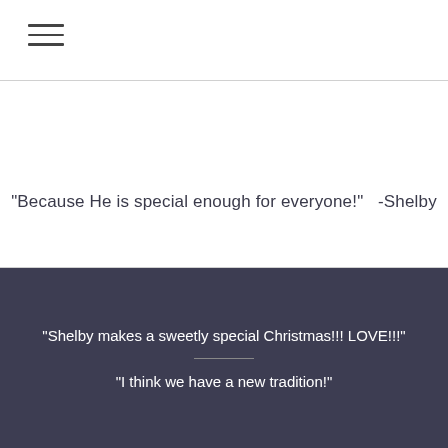[Figure (other): Hamburger menu icon with three horizontal lines]
Home
"Because He is special enough for everyone!"   -Shelby
"Shelby makes a sweetly special Christmas!!! LOVE!!!"
"I think we have a new tradition!"